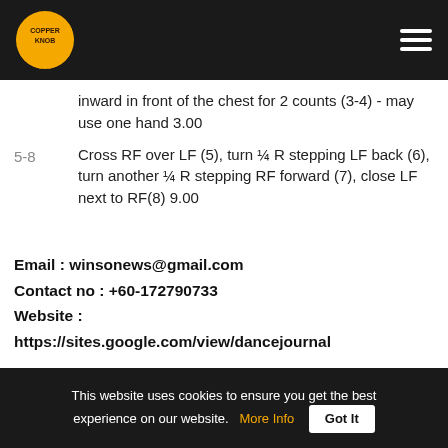Copper Knob - Navigation header with logo and hamburger menu
inward in front of the chest for 2 counts (3-4) - may use one hand 3.00
5-8  Cross RF over LF (5), turn ¼ R stepping LF back (6), turn another ¼ R stepping RF forward (7), close LF next to RF(8) 9.00
Email : winsonews@gmail.com
Contact no : +60-172790733
Website :
https://sites.google.com/view/dancejournal
[Figure (photo): Photo of a female dancer with hair up, light blue background, partial face visible. Pink section on right with a logo symbol.]
This website uses cookies to ensure you get the best experience on our website.  More Info  Got It